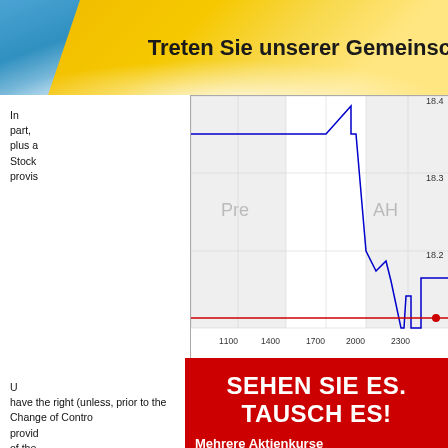Treten Sie unserer Gemeinschaft bei
[Figure (continuous-plot): Stock price line chart showing intraday price movement with Pre and AH (after hours) shaded regions. Blue step line showing price around 18.2-18.4 range. Red horizontal line near bottom. X-axis: 1100, 1400, 1700, 2000, 2300. Y-axis: 18.2, 18.3, 18.4. Attribution: (c) www.advfn.com]
In part, plus a Stock provis
C
U have the right (unless, prior to the Change of Control, provid of the into a conve
[Figure (infographic): Red advertisement banner with bold white text: SEHEN SIE ES. TAUSCH ES! Mehrere Aktienkurse auf einer Seite anzeigen. Leicht anpassbare. Decorative purple/blue swirl on right side.]